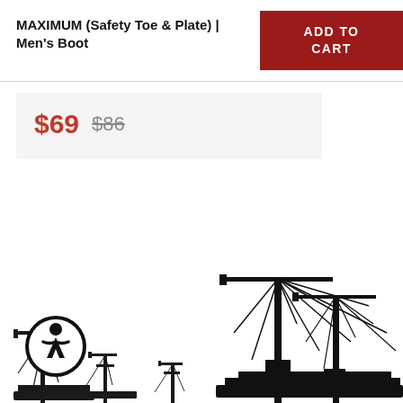MAXIMUM (Safety Toe & Plate) | Men's Boot
ADD TO CART
$69  $86
[Figure (illustration): Black and white industrial port/harbor skyline illustration with cranes and ships, and an accessibility icon (person in circle) in the lower left corner.]